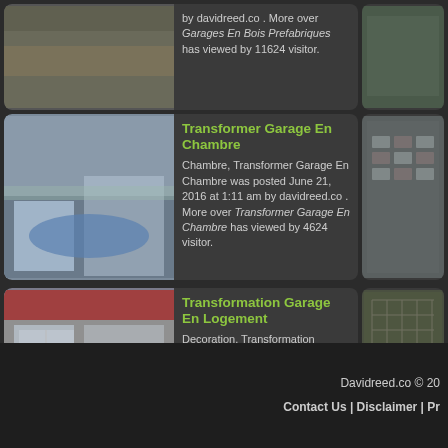[Figure (photo): Partial top card with image of garage/wood structure, text about Garages En Bois Prefabriques, viewed by 11624 visitor]
[Figure (photo): Right column partial photo of outdoor stone/paving area (top)]
Transformer Garage En Chambre
Chambre, Transformer Garage En Chambre was posted June 21, 2016 at 1:11 am by davidreed.co . More over Transformer Garage En Chambre has viewed by 4624 visitor.
[Figure (photo): Bedroom interior converted from garage with blue bedding and built-in wardrobes]
[Figure (photo): Right column partial photo of stone paving/tiles]
Transformation Garage En Logement
Decoration, Transformation Garage En Logement was posted August 9, 2016 at 12:40 pm by davidreed.co . More over Transformation Garage En Logement has viewed by 2914 visitor.
[Figure (photo): Garage converted to apartment interior with sliding doors]
[Figure (photo): Right column partial photo of construction/reinforcement mesh]
Davidreed.co © 20  Contact Us | Disclaimer | Pr